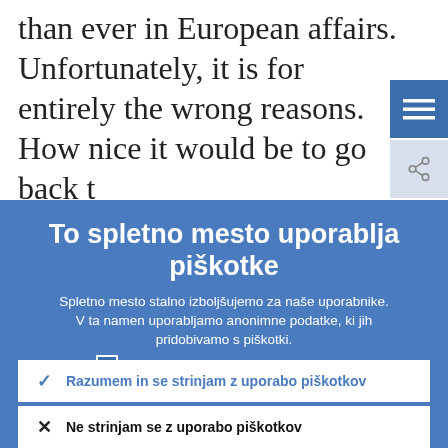than ever in European affairs. Unfortunately, it is for entirely the wrong reasons. How nice it would be to go back to...
To spletno mesto uporablja piškotke
Spletno mesto stalno izboljšujemo za naše uporabnike. V ta namen uporabljamo anonimne podatke, ki jih pridobivamo s piškotki.
Več o tem, kako uporabljamo piškotke
Razumem in se strinjam z uporabo piškotkov
Ne strinjam se z uporabo piškotkov